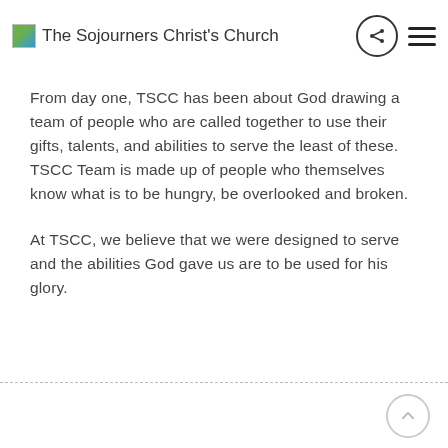The Sojourners Christ's Church
From day one, TSCC has been about God drawing a team of people who are called together to use their gifts, talents, and abilities to serve the least of these.  TSCC Team is made up of people who themselves know what is to be hungry, be overlooked and broken.
At TSCC, we believe that we were designed to serve and the abilities God gave us are to be used for his glory.